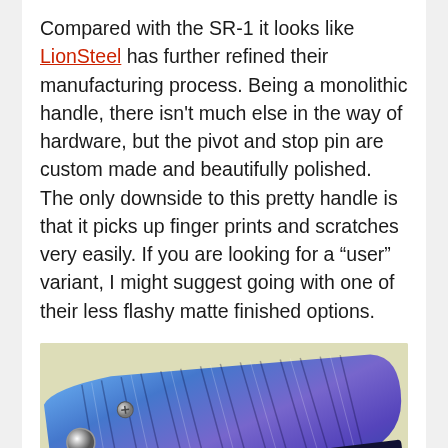Compared with the SR-1 it looks like LionSteel has further refined their manufacturing process. Being a monolithic handle, there isn't much else in the way of hardware, but the pivot and stop pin are custom made and beautifully polished. The only downside to this pretty handle is that it picks up finger prints and scratches very easily. If you are looking for a “user” variant, I might suggest going with one of their less flashy matte finished options.
[Figure (photo): Close-up photo of a blue/purple anodized titanium folding knife handle with radiating grooves, showing the pivot screw and clip against a light background.]